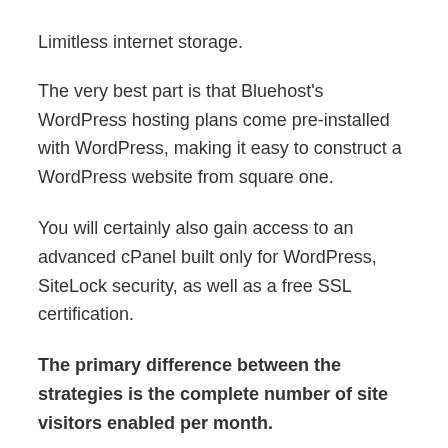Limitless internet storage.
The very best part is that Bluehost's WordPress hosting plans come pre-installed with WordPress, making it easy to construct a WordPress website from square one.
You will certainly also gain access to an advanced cPanel built only for WordPress, SiteLock security, as well as a free SSL certification.
The primary difference between the strategies is the complete number of site visitors enabled per month.
There are also differences in storage, RAM, incorporated CDN, backup dimensions, safety and security, and also level of SSL certification.
You will need to pay $19.99 per month to avail of the Requirement